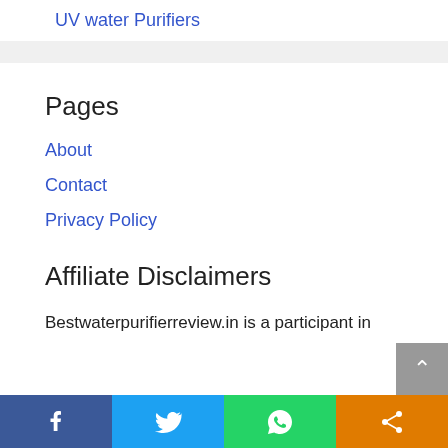UV water Purifiers
Pages
About
Contact
Privacy Policy
Affiliate Disclaimers
Bestwaterpurifierreview.in is a participant in